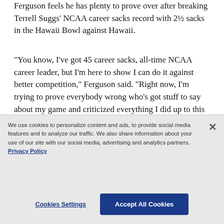Ferguson feels he has plenty to prove over after breaking Terrell Suggs' NCAA career sacks record with 2½ sacks in the Hawaii Bowl against Hawaii.
"You know, I've got 45 career sacks, all-time NCAA career leader, but I'm here to show I can do it against better competition," Ferguson said. "Right now, I'm trying to prove everybody wrong who's got stuff to say about my game and criticized everything I did up to this point."
Here's a look at a few of the top edge rushers at the
We use cookies to personalize content and ads, to provide social media features and to analyze our traffic. We also share information about your use of our site with our social media, advertising and analytics partners. Privacy Policy